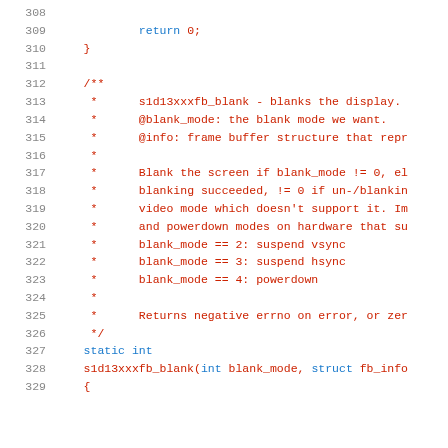Source code listing lines 308-329, showing s1d13xxxfb_blank function documentation and declaration
308  (blank line)
309      return 0;
310  }
311  (blank line)
312  /**
313   *      s1d13xxxfb_blank - blanks the display.
314   *      @blank_mode: the blank mode we want.
315   *      @info: frame buffer structure that repr
316   *
317   *      Blank the screen if blank_mode != 0, el
318   *      blanking succeeded, != 0 if un-/blankin
319   *      video mode which doesn't support it. Im
320   *      and powerdown modes on hardware that su
321   *      blank_mode == 2: suspend vsync
322   *      blank_mode == 3: suspend hsync
323   *      blank_mode == 4: powerdown
324   *
325   *      Returns negative errno on error, or zer
326   */
327  static int
328  s1d13xxxfb_blank(int blank_mode, struct fb_info
329  {